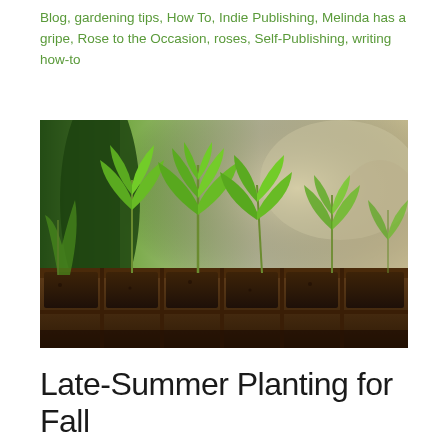Blog, gardening tips, How To, Indie Publishing, Melinda has a gripe, Rose to the Occasion, roses, Self-Publishing, writing how-to
[Figure (photo): Close-up photo of small green seedlings sprouting from dark soil in a segmented seed tray, with a blurred green and beige background.]
Late-Summer Planting for Fall